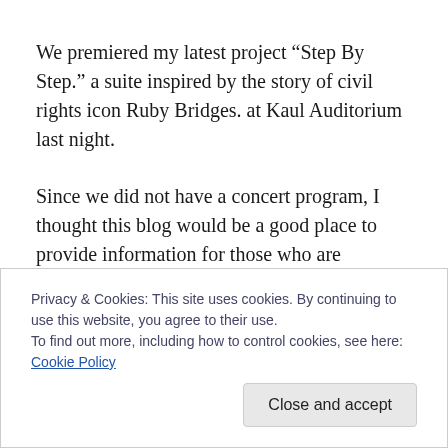We premiered my latest project “Step By Step.” a suite inspired by the story of civil rights icon Ruby Bridges. at Kaul Auditorium last night.
Since we did not have a concert program, I thought this blog would be a good place to provide information for those who are interested in finding out more about the piece and it’s background.
The suite  has nine musical numbers, which are interspersed with a narrative that tells the story of Ruby’s
Privacy & Cookies: This site uses cookies. By continuing to use this website, you agree to their use.
To find out more, including how to control cookies, see here: Cookie Policy
Close and accept